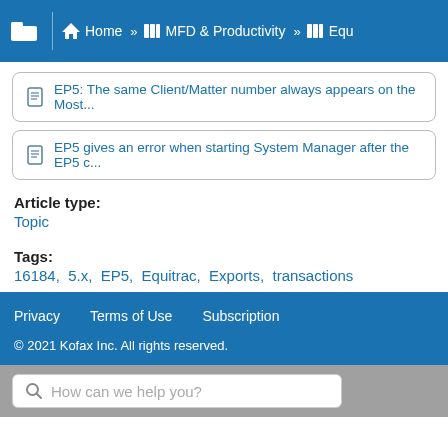Home » MFD & Productivity » Equ
EP5: The same Client/Matter number always appears on the Most...
EP5 gives an error when starting System Manager after the EP5 c...
Article type:
Topic
Tags:
16184,  5.x,  EP5,  Equitrac,  Exports,  transactions
Privacy   Terms of Use   Subscription
© 2021 Kofax Inc. All rights reserved.
How can we help you?